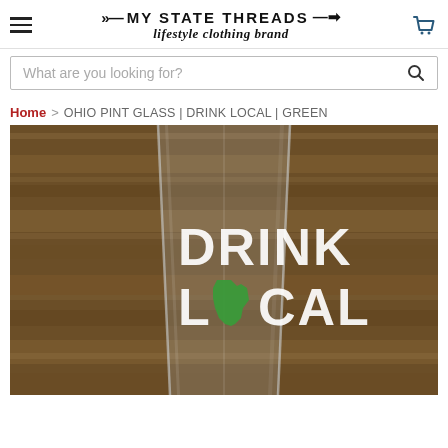MY STATE THREADS lifestyle clothing brand
What are you looking for?
Home > OHIO PINT GLASS | DRINK LOCAL | GREEN
[Figure (photo): A clear pint glass with 'DRINK LOCAL' printed in white block letters, with a green Ohio state shape replacing the 'O' in LOCAL, set against a wooden background.]